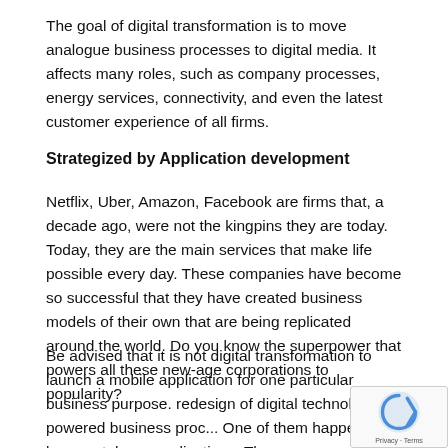The goal of digital transformation is to move analogue business processes to digital media. It affects many roles, such as company processes, energy services, connectivity, and even the latest customer experience of all firms.
Strategized by Application development
Netflix, Uber, Amazon, Facebook are firms that, a decade ago, were not the kingpins they are today. Today, they are the main services that make life possible every day. These companies have become so successful that they have created business models of their own that are being replicated around the world. Do you know the superpower that powers all these new-age corporations to popularity?
Be advised that it is not digital transformation to launch a mobile application for one particular business purpose. redesign of digital technologies-powered business proc... One of them happens to be smartphone applications. They...